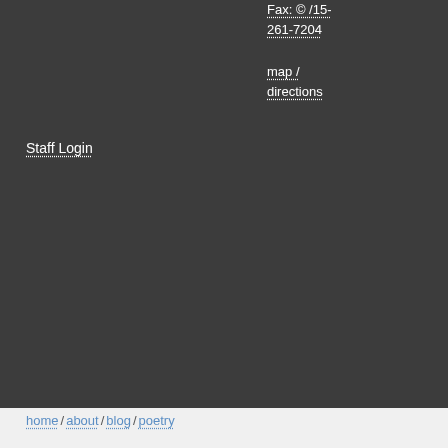Fax: © /15-261-7204
map / directions
Staff Login
home / about / blog / poetry